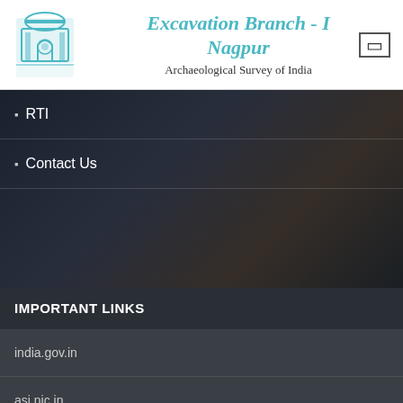[Figure (logo): Archaeological Survey of India official emblem/logo in teal/cyan color]
Excavation Branch - I Nagpur
Archaeological Survey of India
RTI
Contact Us
IMPORTANT LINKS
india.gov.in
asi.nic.in